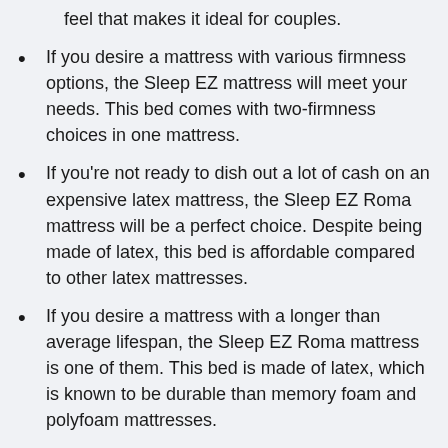feel that makes it ideal for couples.
If you desire a mattress with various firmness options, the Sleep EZ mattress will meet your needs. This bed comes with two-firmness choices in one mattress.
If you're not ready to dish out a lot of cash on an expensive latex mattress, the Sleep EZ Roma mattress will be a perfect choice. Despite being made of latex, this bed is affordable compared to other latex mattresses.
If you desire a mattress with a longer than average lifespan, the Sleep EZ Roma mattress is one of them. This bed is made of latex, which is known to be durable than memory foam and polyfoam mattresses.
If you usually sleep hot on foam mattresses, you will love the Sleep EZ mattress. These mattresses are made of latex, which has an open-cell structure. Therefore, they allow air to flow through; thus, they end up sleeping cool.